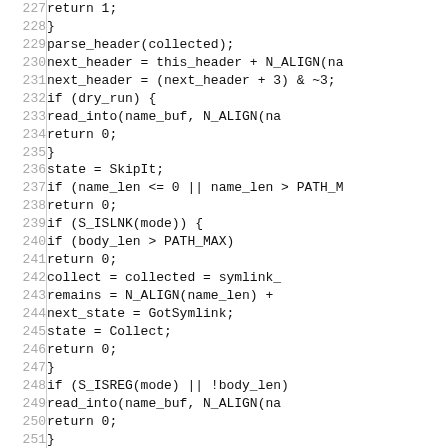Code listing lines 227-256 showing C source code for header parsing and skip logic